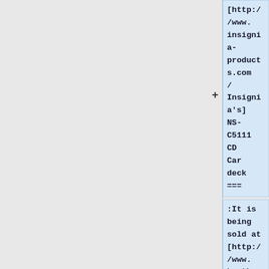[http://www.insignia-products.com/ Insignia's] NS-C5111 CD Car deck ===
:It is being sold at [http://www.bestbuy.com/ Best Buy] as of April 2006 and will play Vorbis off of a USB drive, SD Card or from Oggs encoded onto data